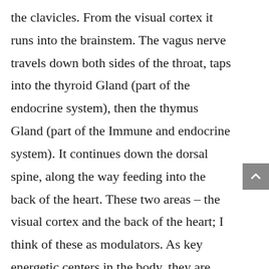the clavicles. From the visual cortex it runs into the brainstem. The vagus nerve travels down both sides of the throat, taps into the thyroid Gland (part of the endocrine system), then the thymus Gland (part of the Immune and endocrine system). It continues down the dorsal spine, along the way feeding into the back of the heart. These two areas – the visual cortex and the back of the heart; I think of these as modulators. As key energetic centers in the body, they are significant points in the vagus network. Remember, they contain the totality of the body's stored memory of all traumas, including ancestral trauma and the ancient fight/flight response that has been